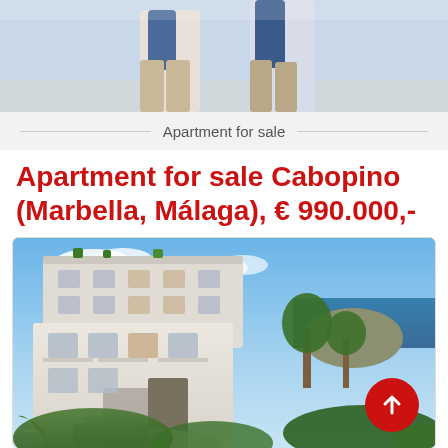[Figure (photo): Two people walking, cropped from waist down, blue sky background]
Apartment for sale
Apartment for sale Cabopino (Marbella, Málaga), € 990.000,-
[Figure (photo): Modern white luxury apartment building with sea view in Cabopino, Marbella, with lush greenery and blue sky. Red scroll-up button overlay in bottom right.]